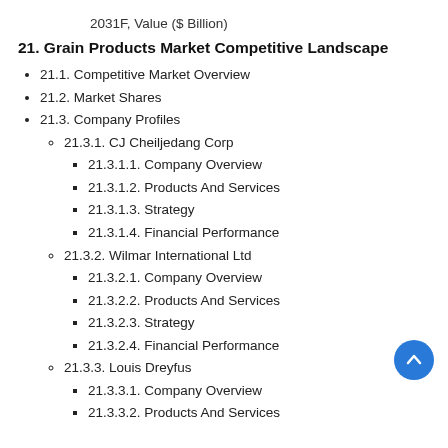2031F, Value ($ Billion)
21. Grain Products Market Competitive Landscape
21.1. Competitive Market Overview
21.2. Market Shares
21.3. Company Profiles
21.3.1. CJ Cheiljedang Corp
21.3.1.1. Company Overview
21.3.1.2. Products And Services
21.3.1.3. Strategy
21.3.1.4. Financial Performance
21.3.2. Wilmar International Ltd
21.3.2.1. Company Overview
21.3.2.2. Products And Services
21.3.2.3. Strategy
21.3.2.4. Financial Performance
21.3.3. Louis Dreyfus
21.3.3.1. Company Overview
21.3.3.2. Products And Services